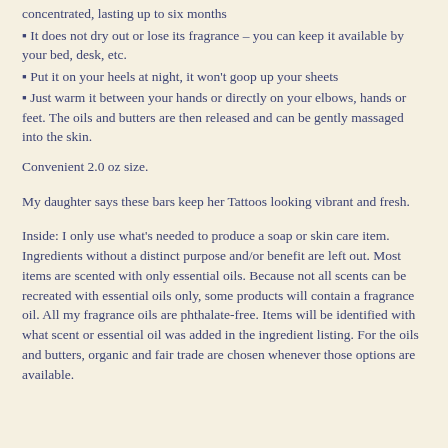concentrated, lasting up to six months
It does not dry out or lose its fragrance – you can keep it available by your bed, desk, etc.
Put it on your heels at night, it won't goop up your sheets
Just warm it between your hands or directly on your elbows, hands or feet. The oils and butters are then released and can be gently massaged into the skin.
Convenient 2.0 oz size.
My daughter says these bars keep her Tattoos looking vibrant and fresh.
Inside: I only use what's needed to produce a soap or skin care item. Ingredients without a distinct purpose and/or benefit are left out. Most items are scented with only essential oils. Because not all scents can be recreated with essential oils only, some products will contain a fragrance oil. All my fragrance oils are phthalate-free. Items will be identified with what scent or essential oil was added in the ingredient listing. For the oils and butters, organic and fair trade are chosen whenever those options are available.